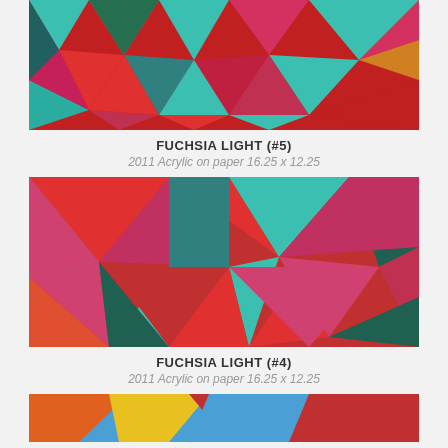[Figure (photo): Geometric abstract painting with colorful triangles in red, teal, pink, green, blue — Fuchsia Light #5]
FUCHSIA LIGHT (#5)
2011 Acrylic on paper 16.25 x 12.25
[Figure (photo): Geometric abstract painting with colorful triangles in red, teal, pink, magenta, blue, green — Fuchsia Light #4]
FUCHSIA LIGHT (#4)
2011 Acrylic on paper 16.25 x 12.25
[Figure (photo): Partial view of another geometric abstract painting with orange, blue, yellow, red stripes/triangles at the bottom of the page]